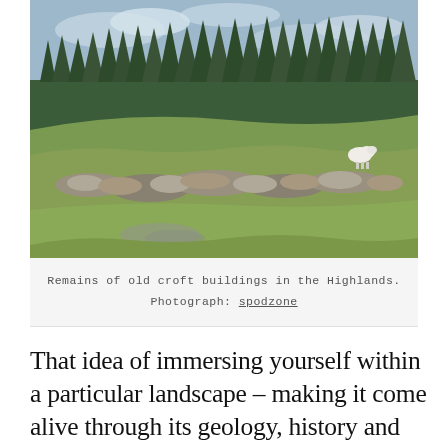[Figure (photo): Photograph of a Scottish Highland landscape showing grassy pasture with rocky stone wall remains in the foreground, a dense forest of tall evergreen trees in the background, a partly cloudy sky, and a single white sheep visible on the hillside.]
Remains of old croft buildings in the Highlands. Photograph: spodzone
That idea of immersing yourself within a particular landscape – making it come alive through its geology, history and wildlife – is exemplified by Scotland's ecomuseums.